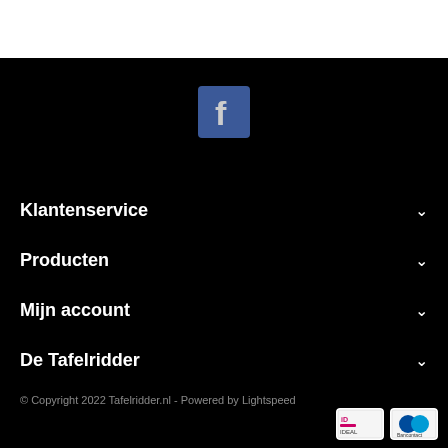[Figure (logo): Facebook logo icon — blue square with white 'f' letter]
Klantenservice
Producten
Mijn account
De Tafelridder
© Copyright 2022 Tafelridder.nl - Powered by Lightspeed
[Figure (logo): iDEAL payment logo]
[Figure (logo): Bancontact payment logo]